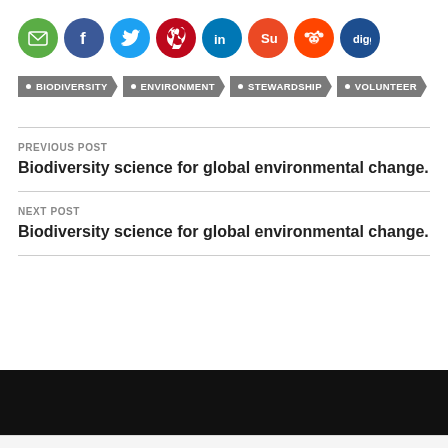[Figure (infographic): Row of social sharing icon buttons: email (green), Facebook (blue), Twitter (light blue), Pinterest (dark red), LinkedIn (blue), StumbleUpon (orange-red), Reddit (red-orange), Digg (dark blue)]
BIODIVERSITY
ENVIRONMENT
STEWARDSHIP
VOLUNTEER
PREVIOUS POST
Biodiversity science for global environmental change.
NEXT POST
Biodiversity science for global environmental change.